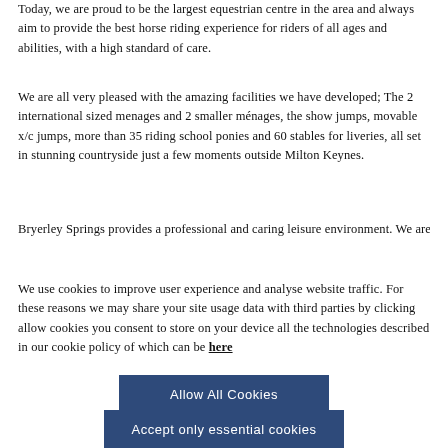Today, we are proud to be the largest equestrian centre in the area and always aim to provide the best horse riding experience for riders of all ages and abilities, with a high standard of care.
We are all very pleased with the amazing facilities we have developed; The 2 international sized menages and 2 smaller ménages, the show jumps, movable x/c jumps, more than 35 riding school ponies and 60 stables for liveries, all set in stunning countryside just a few moments outside Milton Keynes.
Bryerley Springs provides a professional and caring leisure environment. We are lucky to have a broad range of carefully...
We use cookies to improve user experience and analyse website traffic. For these reasons we may share your site usage data with third parties by clicking allow cookies you consent to store on your device all the technologies described in our cookie policy of which can be here
Allow All Cookies
Accept only essential cookies